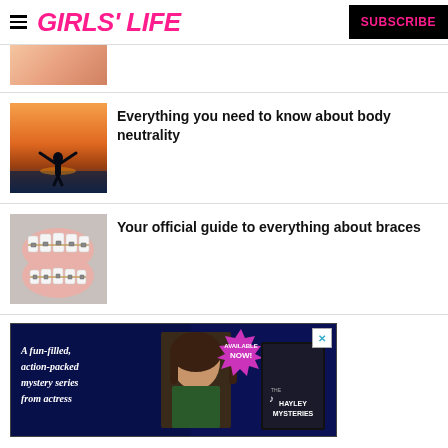GIRLS' LIFE | SUBSCRIBE
[Figure (photo): Partial thumbnail of a food-related image at top]
Everything you need to know about body neutrality
[Figure (photo): Silhouette of a person with arms raised at sunset on the beach]
Your official guide to everything about braces
[Figure (photo): Dental model showing teeth with braces]
[Figure (photo): Advertisement: A fun-filled, action-packed mystery series from actress - Hayley Mysteries, Available Now]